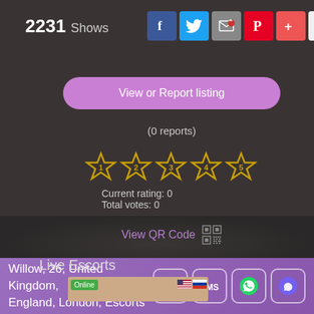2231 Shows
[Figure (screenshot): Social share buttons: Facebook, Twitter, Email, Pinterest, Plus, and a count box showing 0]
[Figure (other): View or Report listing button (purple/violet rounded button)]
(0 reports)
[Figure (other): 5-star rating widget showing 5 empty/outline gold stars numbered 1 through 5]
Current rating: 0
Total votes: 0
View QR Code
Live Escorts
[Figure (screenshot): Partial thumbnail showing Online badge and two flag icons (US and Russia)]
Willow, 26, United Kingdom, England, London, Escorts
[Figure (other): Action buttons: phone/call icon, SMS text button, WhatsApp icon, Viber icon]